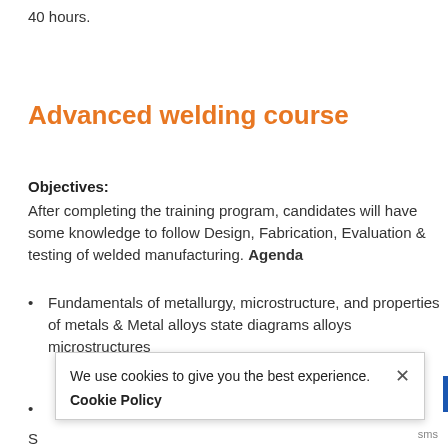40 hours.
Advanced welding course
Objectives:
After completing the training program, candidates will have some knowledge to follow Design, Fabrication, Evaluation & testing of welded manufacturing. Agenda
Fundamentals of metallurgy, microstructure, and properties of metals & Metal alloys state diagrams alloys microstructures
S
Heat treatment of base material and welded joints
We use cookies to give you the best experience. Cookie Policy